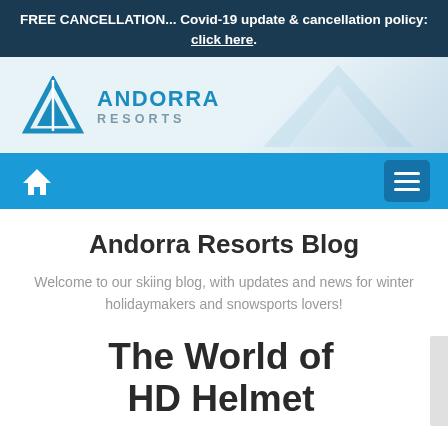FREE CANCELLATION... Covid-19 update & cancellation policy: click here.
[Figure (logo): Andorra Resorts logo: blue triangle mountain icon with 'ANDORRA RESORTS' text]
[Figure (screenshot): Navigation bar with home icon on left and hamburger menu button on right, blue background]
Andorra Resorts Blog
Welcome to our skiing blog, with updates and news for winter holidaymakers and snowsports lovers!
The World of HD Helmet